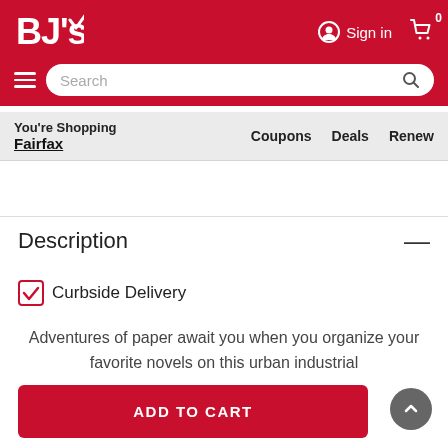[Figure (screenshot): BJ's Wholesale Club website header with red background, logo, Sign in link, cart icon with 0 badge, hamburger menu, and search bar]
You're Shopping Fairfax
Coupons  Deals  Renew
Description
Curbside Delivery
Adventures of paper await you when you organize your favorite novels on this urban industrial
ADD TO CART